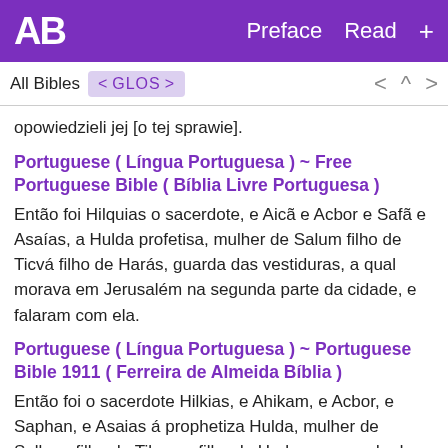AB   Preface  Read  +
All Bibles  < GLOS >   <  ^  >
opowiedzieli jej [o tej sprawie].
Portuguese ( Língua Portuguesa ) ~ Free Portuguese Bible ( Bíblia Livre Portuguesa )
Então foi Hilquias o sacerdote, e Aicã e Acbor e Safã e Asaías, a Hulda profetisa, mulher de Salum filho de Ticvá filho de Harás, guarda das vestiduras, a qual morava em Jerusalém na segunda parte da cidade, e falaram com ela.
Portuguese ( Língua Portuguesa ) ~ Portuguese Bible 1911 ( Ferreira de Almeida Bíblia )
Então foi o sacerdote Hilkias, e Ahikam, e Acbor, e Saphan, e Asaias á prophetiza Hulda, mulher de Sallum, filho de Tikva, o filho de Harhas, o guarda das vestiduras (e ella habitava em Jerusalem, na segunda